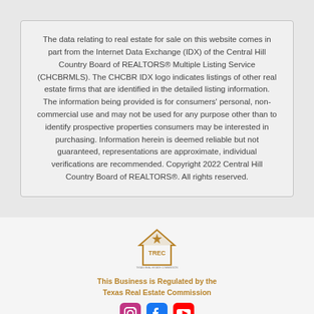The data relating to real estate for sale on this website comes in part from the Internet Data Exchange (IDX) of the Central Hill Country Board of REALTORS® Multiple Listing Service (CHCBRMLS). The CHCBR IDX logo indicates listings of other real estate firms that are identified in the detailed listing information. The information being provided is for consumers' personal, non-commercial use and may not be used for any purpose other than to identify prospective properties consumers may be interested in purchasing. Information herein is deemed reliable but not guaranteed, representations are approximate, individual verifications are recommended. Copyright 2022 Central Hill Country Board of REALTORS®. All rights reserved.
[Figure (logo): TREC logo — a house outline with a star and the letters TREC, gold/dark yellow color, with tagline text below]
This Business is Regulated by the Texas Real Estate Commission
[Figure (other): Social media icons: Instagram (purple/pink), Facebook (blue), YouTube (red)]